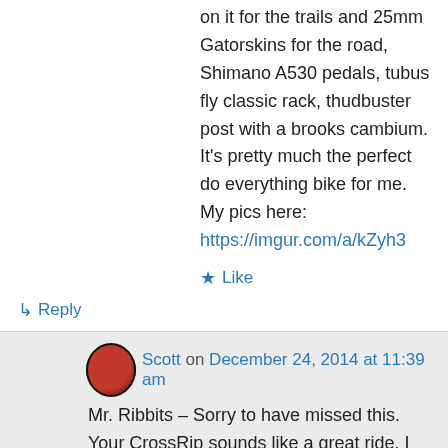on it for the trails and 25mm Gatorskins for the road, Shimano A530 pedals, tubus fly classic rack, thudbuster post with a brooks cambium. It's pretty much the perfect do everything bike for me. My pics here: https://imgur.com/a/kZyh3
★ Like
↳ Reply
Scott on December 24, 2014 at 11:39 am
Mr. Ribbits – Sorry to have missed this. Your CrossRip sounds like a great ride. I had to do some adjustments to mine. But I expect to spend more time on it over the winter. Take Care! -Scott